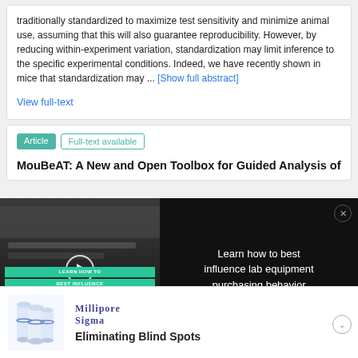traditionally standardized to maximize test sensitivity and minimize animal use, assuming that this will also guarantee reproducibility. However, by reducing within-experiment variation, standardization may limit inference to the specific experimental conditions. Indeed, we have recently shown in mice that standardization may ... [Show full abstract]
View full-text
Article  Full-text available
MouBeAT: A New and Open Toolbox for Guided Analysis of
[Figure (screenshot): Video advertisement overlay: left panel shows a lab equipment video thumbnail with play button and green text 'LEARN HOW TO BEST INFLUENCE LAB EQUIPMENT PURCHASING BEHAVIOR'; right panel on black background shows text 'Learn how to best influence lab equipment purchasing behavior' with a close (X) button.]
[Figure (infographic): Bottom advertisement: MilliporeSigma logo with product image (cylindrical lab containers) and text 'Eliminating Blind Spots']